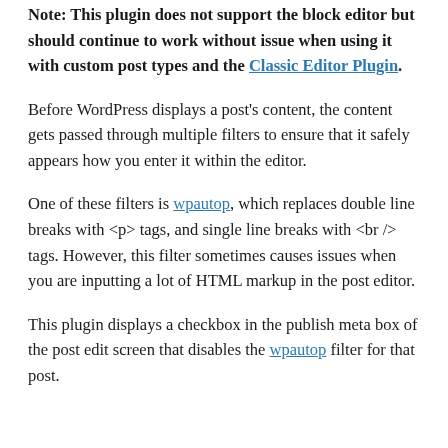Note: This plugin does not support the block editor but should continue to work without issue when using it with custom post types and the Classic Editor Plugin.
Before WordPress displays a post's content, the content gets passed through multiple filters to ensure that it safely appears how you enter it within the editor.
One of these filters is wpautop, which replaces double line breaks with <p> tags, and single line breaks with <br /> tags. However, this filter sometimes causes issues when you are inputting a lot of HTML markup in the post editor.
This plugin displays a checkbox in the publish meta box of the post edit screen that disables the wpautop filter for that post.